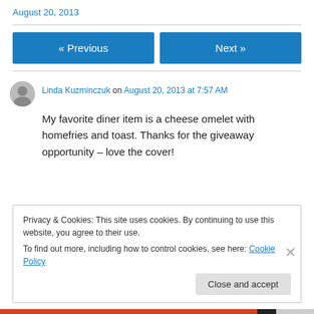August 20, 2013
« Previous
Next »
Linda Kuzminczuk on August 20, 2013 at 7:57 AM
My favorite diner item is a cheese omelet with homefries and toast. Thanks for the giveaway opportunity – love the cover!
Privacy & Cookies: This site uses cookies. By continuing to use this website, you agree to their use.
To find out more, including how to control cookies, see here: Cookie Policy
Close and accept